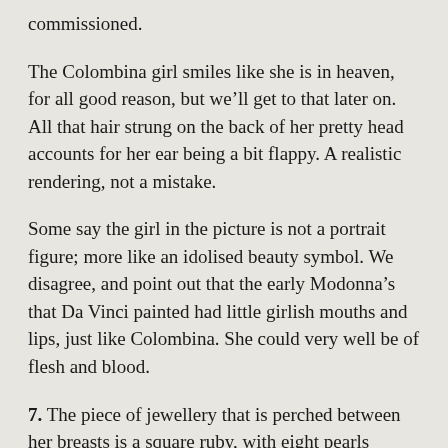commissioned.
The Colombina girl smiles like she is in heaven, for all good reason, but we’ll get to that later on. All that hair strung on the back of her pretty head accounts for her ear being a bit flappy. A realistic rendering, not a mistake.
Some say the girl in the picture is not a portrait figure; more like an idolised beauty symbol. We disagree, and point out that the early Modonna’s that Da Vinci painted had little girlish mouths and lips, just like Colombina. She could very well be of flesh and blood.
7. The piece of jewellery that is perched between her breasts is a square ruby, with eight pearls around it, four of which are blue, all set in a golden frame, with little leafs of gold, unfolding ferns, much like euro coin symbols. Da Vinci loved depicting ladies with jewels. And this one is exquisitely rendered, letting the fabric of the blouse shine